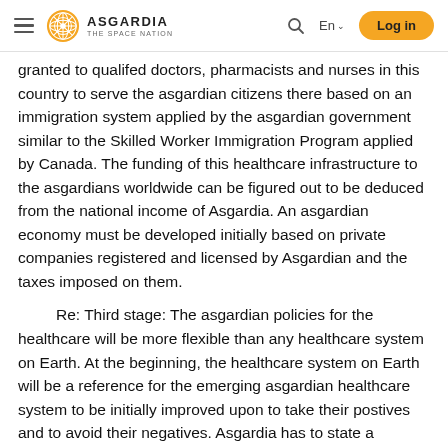ASGARDIA THE SPACE NATION — En — Log in
granted to qualifed doctors, pharmacists and nurses in this country to serve the asgardian citizens there based on an immigration system applied by the asgardian government similar to the Skilled Worker Immigration Program applied by Canada. The funding of this healthcare infrastructure to the asgardians worldwide can be figured out to be deduced from the national income of Asgardia. An asgardian economy must be developed initially based on private companies registered and licensed by Asgardian and the taxes imposed on them.
Re: Third stage: The asgardian policies for the healthcare will be more flexible than any healthcare system on Earth. At the beginning, the healthcare system on Earth will be a reference for the emerging asgardian healthcare system to be initially improved upon to take their postives and to avoid their negatives. Asgardia has to state a sufficient budget for